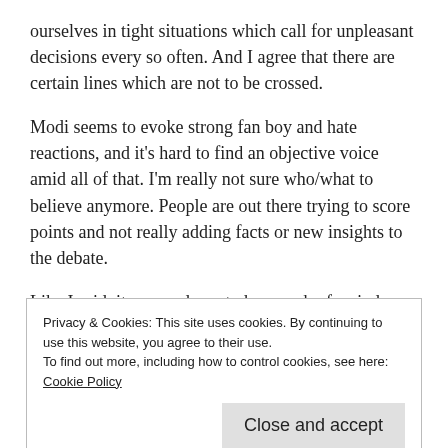ourselves in tight situations which call for unpleasant decisions every so often. And I agree that there are certain lines which are not to be crossed.
Modi seems to evoke strong fan boy and hate reactions, and it's hard to find an objective voice amid all of that. I'm really not sure who/what to believe anymore. People are out there trying to score points and not really adding facts or new insights to the debate.
Like I said, it comes down to how each of us judges him in the court of our personal opinion. And I am not, for a moment, saying that applying personal opinion to a decision as critical as
Privacy & Cookies: This site uses cookies. By continuing to use this website, you agree to their use.
To find out more, including how to control cookies, see here: Cookie Policy
Close and accept
little choice but to go with the facts, ie the courts have